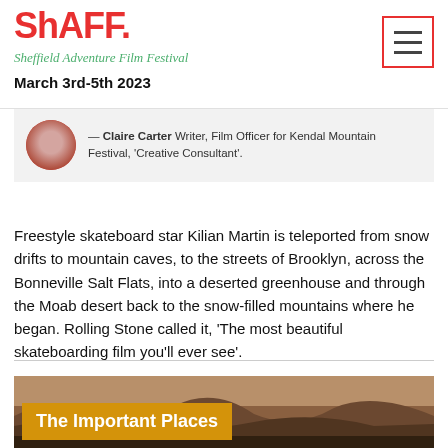ShAFF. Sheffield Adventure Film Festival March 3rd-5th 2023
— Claire Carter Writer, Film Officer for Kendal Mountain Festival, 'Creative Consultant'.
Freestyle skateboard star Kilian Martin is teleported from snow drifts to mountain caves, to the streets of Brooklyn, across the Bonneville Salt Flats, into a deserted greenhouse and through the Moab desert back to the snow-filled mountains where he began. Rolling Stone called it, 'The most beautiful skateboarding film you'll ever see'.
Watch the film
Watch the trailer
[Figure (photo): Desert canyon landscape with warm brown and amber tones, bottom section of the page]
The Important Places